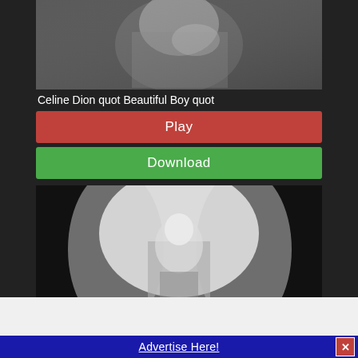[Figure (photo): Black and white photo, partial upper image, abstract/blurred figure]
Celine Dion quot Beautiful Boy quot
Play
Download
[Figure (photo): Black and white photo of a woman in a sparkly dress standing with smoke or light behind her, Celine Dion]
Advertise Here!